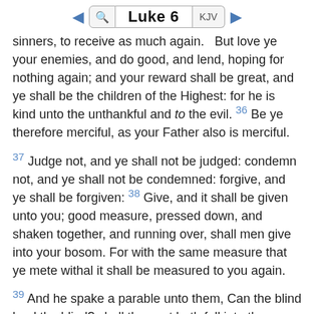Luke 6  KJV
sinners, to receive as much again. But love ye your enemies, and do good, and lend, hoping for nothing again; and your reward shall be great, and ye shall be the children of the Highest: for he is kind unto the unthankful and to the evil. 36 Be ye therefore merciful, as your Father also is merciful.
37 Judge not, and ye shall not be judged: condemn not, and ye shall not be condemned: forgive, and ye shall be forgiven: 38 Give, and it shall be given unto you; good measure, pressed down, and shaken together, and running over, shall men give into your bosom. For with the same measure that ye mete withal it shall be measured to you again.
39 And he spake a parable unto them, Can the blind lead the blind? shall they not both fall into the ditch? 40 The disciple is not above his master: but every one that is